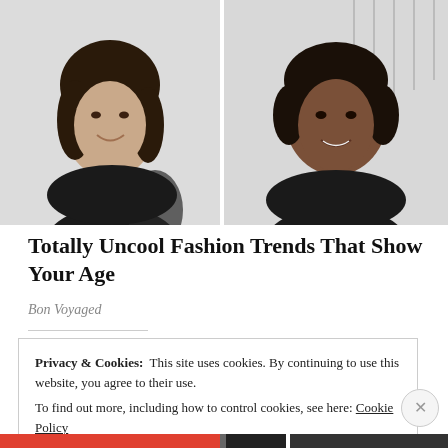[Figure (photo): Two women in a side-by-side photo collage. Left: a light-skinned woman with long dark wavy hair wearing a black outfit with lace sleeve detail, smiling. Right: a dark-skinned woman with a short dark bob, wearing a dark top, smiling outdoors.]
Totally Uncool Fashion Trends That Show Your Age
Bon Voyaged
Privacy & Cookies:  This site uses cookies. By continuing to use this website, you agree to their use.
To find out more, including how to control cookies, see here: Cookie Policy
Close and accept